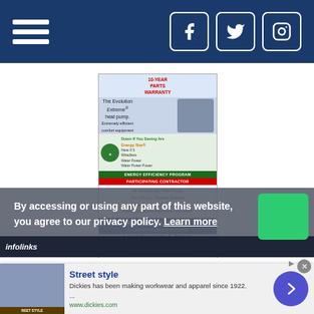Navigation bar with hamburger menu and social icons (Facebook, Twitter, Instagram)
[Figure (photo): Rodney B. Smith HVAC advertisement featuring Evolution Extreme heat pump, Energy Efficiency Program Participating Contractor badge, services list, company name, phone (717) 264-1793, website www.rodneysmith.com, address, and Bryant award badge]
Rodney B. Smith
(717) 264-1793
Hardware Store
By accessing or using any part of this website, you agree to our privacy policy. Learn more
[Figure (infographic): Bottom advertisement: Street style - Dickies has been making workwear and apparel since 1922. www.dickies.com with person photo and arrow button]